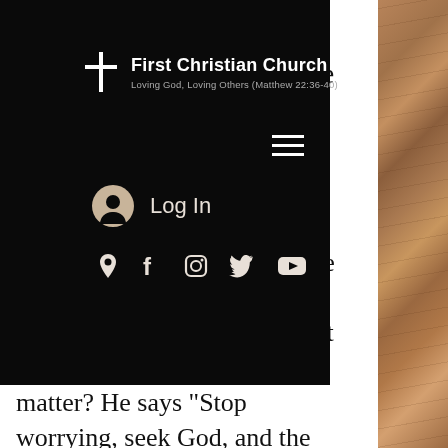[Figure (screenshot): First Christian Church website mobile navigation overlay on dark background showing logo with cross, hamburger menu, Log In button, and social media icons (location, Facebook, Instagram, Twitter, YouTube)]
and ople and e if nat r not handle shing end ast those anxieties on to Him. The world troubles us, politics trouble us, bills trouble us. Yet what does Jesus say on this matter? He says "Stop worrying, seek God, and the things you need will be provided" (see below). Trust in Him.